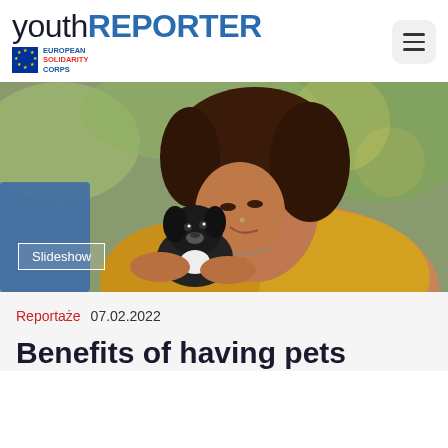youthREPORTER — European Solidarity Corps
[Figure (photo): A woman with curly hair and a yellow floral dress smiling as she holds a small black and white puppy close to her face. Background is blurred greenery and blue objects. A 'Slideshow' label overlay is visible in the bottom-left corner.]
Reportaże  07.02.2022
Benefits of having pets